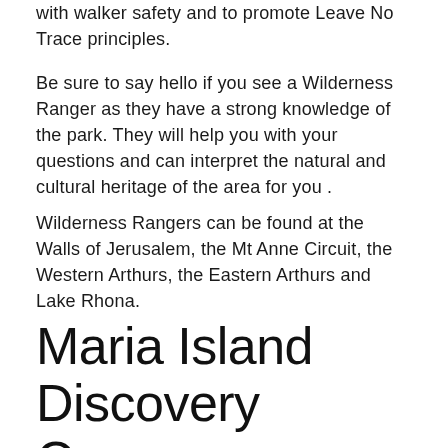with walker safety and to promote Leave No Trace principles.
Be sure to say hello if you see a Wilderness Ranger as they have a strong knowledge of the park. They will help you with your questions and can interpret the natural and cultural heritage of the area for you .
Wilderness Rangers can be found at the Walls of Jerusalem, the Mt Anne Circuit, the Western Arthurs, the Eastern Arthurs and Lake Rhona.
Maria Island Discovery Camps
Tasmanian students have the opportunity to explore the World Heritage listed Darlington Probation Station and experience native wildlife during a School Discovery Camp